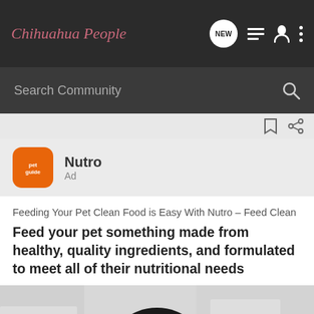Chihuahua People
Search Community
[Figure (other): Bookmark and share icons on a light gray bar]
[Figure (logo): Petguide orange rounded square app icon logo for Nutro ad]
Nutro
Ad
Feeding Your Pet Clean Food is Easy With Nutro – Feed Clean
Feed your pet something made from healthy, quality ingredients, and formulated to meet all of their nutritional needs
[Figure (photo): A black cocker spaniel dog wearing a red polka dot bandana, sitting against a light blurred background]